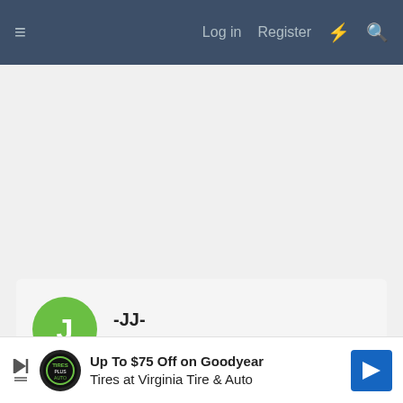≡   Log in   Register   ⚡   🔍
[Figure (screenshot): User profile card for user -JJ- with Guest role, green avatar with letter J]
-JJ-
Guest
Feb 14, 2006
#9
Posts
[Figure (other): Advertisement banner: Up To $75 Off on Goodyear Tires at Virginia Tire & Auto, with Tires Plus logo and blue direction arrow icon]